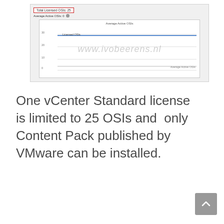[Figure (screenshot): Screenshot of a vCenter licensing dashboard showing 'Total Licensed OSIs: 25' highlighted with a red border, 'Average Active OSIs: 0' below it, and a chart titled 'Average Active OSIs' with a Licensed OSIs line and an Average Active OSIs line near the bottom. Watermark text 'www.ivobeerens.nl' overlaid on the chart.]
One vCenter Standard license is limited to 25 OSIs and  only Content Pack published by VMware can be installed.